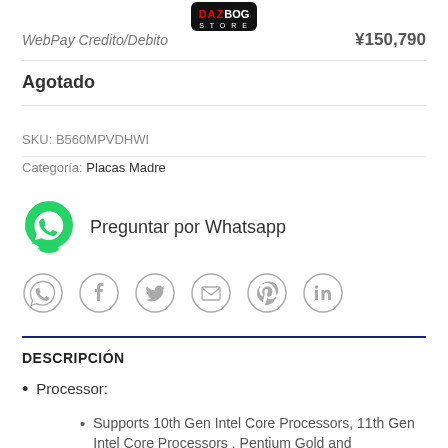DAZBOG STORE
WebPay Credito/Debito  ¥150,790
Agotado
SKU: B560MPVDHWI
Categoría: Placas Madre
Preguntar por Whatsapp
[Figure (infographic): Social share icons: WhatsApp, Facebook, Twitter, Email, Pinterest, LinkedIn — all as grey outlined circles]
DESCRIPCIÓN
Processor:
Supports 10th Gen Intel Core Processors, 11th Gen Intel Core Processors , Pentium Gold and